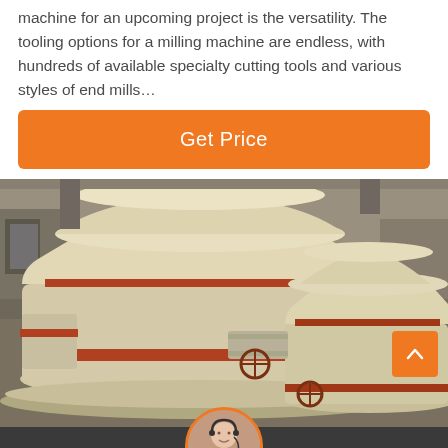machine for an upcoming project is the versatility. The tooling options for a milling machine are endless, with hundreds of available specialty cutting tools and various styles of end mills…
Get Price
[Figure (photo): Industrial milling machines in a factory setting. Two large cream/beige colored cylindrical grinding mill machines with red trim bands and mechanical components, situated in an industrial facility.]
Leave Message
Chat Online